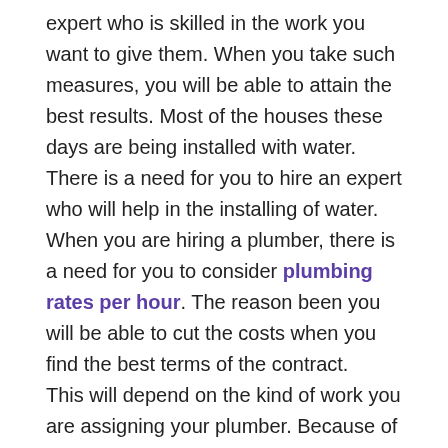expert who is skilled in the work you want to give them. When you take such measures, you will be able to attain the best results. Most of the houses these days are being installed with water. There is a need for you to hire an expert who will help in the installing of water. When you are hiring a plumber, there is a need for you to consider plumbing rates per hour. The reason been you will be able to cut the costs when you find the best terms of the contract. This will depend on the kind of work you are assigning your plumber. Because of the challenges that come with doing a small job, it is advisable for you to hire on hourly basis. The amount of plumbing rates per hour will vary from one season to the other. This will be subject to different aspects. It will be important for you to consider this option when the rates are favorable. There are some tasks that are better charged depending on the nature of what has been done. You